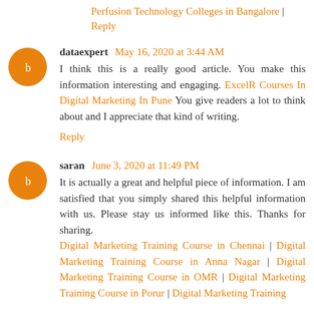Perfusion Technology Colleges in Bangalore | Reply
dataexpert May 16, 2020 at 3:44 AM
I think this is a really good article. You make this information interesting and engaging. ExcelR Courses In Digital Marketing In Pune You give readers a lot to think about and I appreciate that kind of writing.
Reply
saran June 3, 2020 at 11:49 PM
It is actually a great and helpful piece of information. I am satisfied that you simply shared this helpful information with us. Please stay us informed like this. Thanks for sharing.
Digital Marketing Training Course in Chennai | Digital Marketing Training Course in Anna Nagar | Digital Marketing Training Course in OMR | Digital Marketing Training Course in Porur | Digital Marketing Training